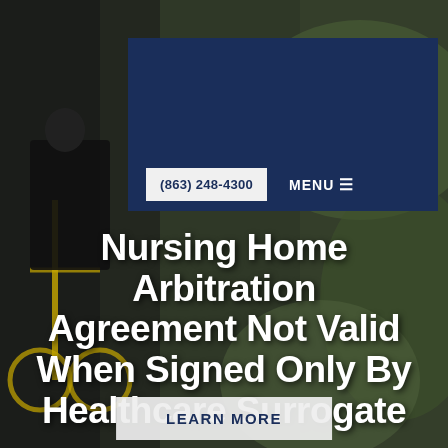[Figure (photo): Background photo of a person in a wheelchair being assisted, with blurred outdoor greenery in the background. Dark overlay applied.]
(863) 248-4300  MENU
Nursing Home Arbitration Agreement Not Valid When Signed Only By Healthcare Surrogate
LEARN MORE